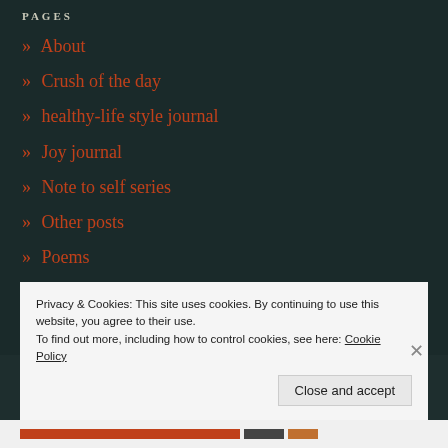PAGES
» About
» Crush of the day
» healthy-life style journal
» Joy journal
» Note to self series
» Other posts
» Poems
» Question of the day
» The life in the diary
Privacy & Cookies: This site uses cookies. By continuing to use this website, you agree to their use.
To find out more, including how to control cookies, see here: Cookie Policy
Close and accept